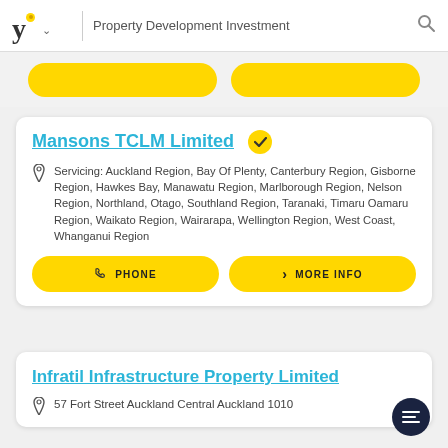Property Development Investment
Mansons TCLM Limited
Servicing: Auckland Region, Bay Of Plenty, Canterbury Region, Gisborne Region, Hawkes Bay, Manawatu Region, Marlborough Region, Nelson Region, Northland, Otago, Southland Region, Taranaki, Timaru Oamaru Region, Waikato Region, Wairarapa, Wellington Region, West Coast, Whanganui Region
Infratil Infrastructure Property Limited
57 Fort Street Auckland Central Auckland 1010